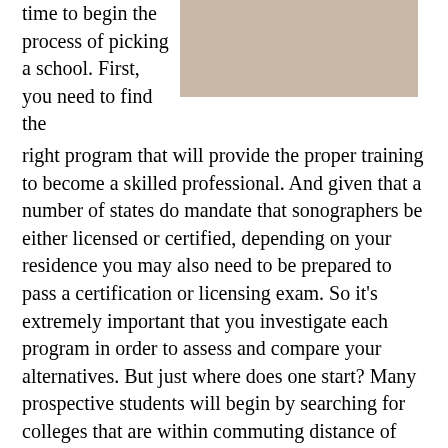[Figure (photo): Close-up photo of skin or a body surface, appears to be an ultrasound-related image, cropped at top of page]
time to begin the process of picking a school. First, you need to find the right program that will provide the proper training to become a skilled professional. And given that a number of states do mandate that sonographers be either licensed or certified, depending on your residence you may also need to be prepared to pass a certification or licensing exam. So it’s extremely important that you investigate each program in order to assess and compare your alternatives. But just where does one start? Many prospective students will begin by searching for colleges that are within commuting distance of their residences and then by comparing tuition. Of course cost and location must be taken into account when making a decision, but there are additional critical factors as well. For instance, if the ultrasound technician schools have earned accreditation or if they sponsor internship programs. These and additional qualifiers will be covered more in depth later in